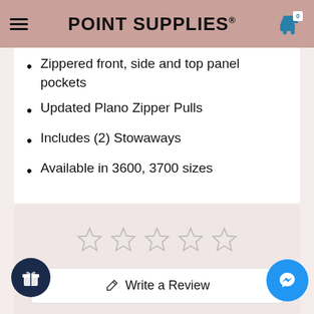POINT SUPPLIES®
Zippered front, side and top panel pockets
Updated Plano Zipper Pulls
Includes (2) Stowaways
Available in 3600, 3700 sizes
[Figure (other): Five empty star rating icons for customer review]
Write a Review